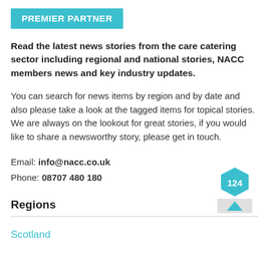PREMIER PARTNER
Read the latest news stories from the care catering sector including regional and national stories, NACC members news and key industry updates.
You can search for news items by region and by date and also please take a look at the tagged items for topical stories. We are always on the lookout for great stories, if you would like to share a newsworthy story, please get in touch.
Email: info@nacc.co.uk
Phone: 08707 480 180
Regions
Scotland